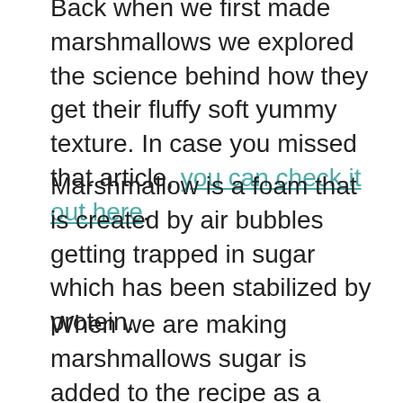Back when we first made marshmallows we explored the science behind how they get their fluffy soft yummy texture. In case you missed that article, you can check it out here.
Marshmallow is a foam that is created by air bubbles getting trapped in sugar which has been stabilized by protein.
When we are making marshmallows sugar is added to the recipe as a syrup. From our Candy Science studies we learned that candy syrup is made from pure sucrose (granulated sugar) and water and that the